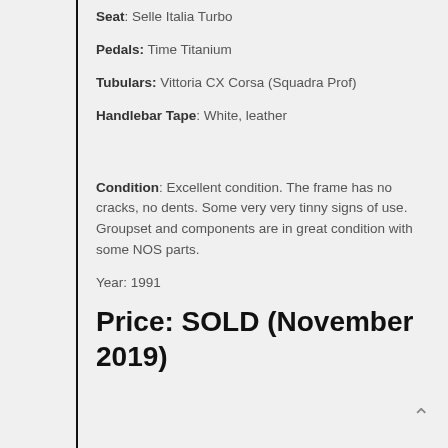Seat: Selle Italia Turbo
Pedals: Time Titanium
Tubulars: Vittoria CX Corsa (Squadra Prof)
Handlebar Tape: White, leather
Condition: Excellent condition. The frame has no cracks, no dents. Some very very tinny signs of use. Groupset and components are in great condition with some NOS parts.
Year: 1991
Price: SOLD (November 2019)